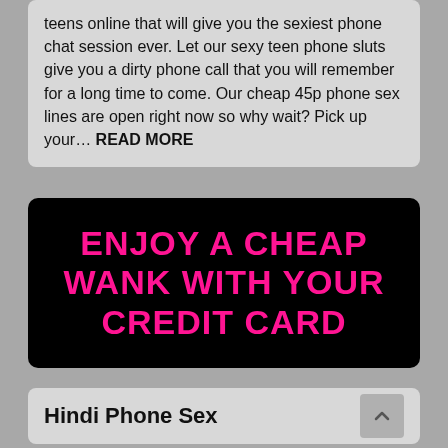teens online that will give you the sexiest phone chat session ever. Let our sexy teen phone sluts give you a dirty phone call that you will remember for a long time to come. Our cheap 45p phone sex lines are open right now so why wait? Pick up your… READ MORE
[Figure (other): Black banner with hot pink bold uppercase text reading: ENJOY A CHEAP WANK WITH YOUR CREDIT CARD]
Hindi Phone Sex